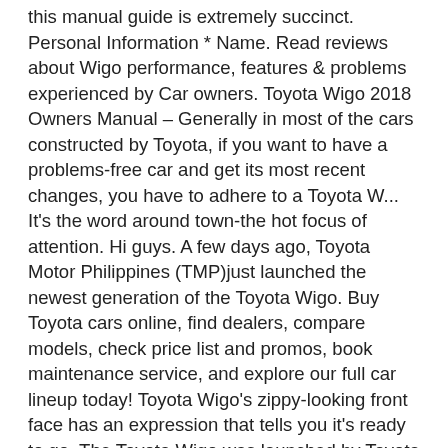this manual guide is extremely succinct. Personal Information * Name. Read reviews about Wigo performance, features & problems experienced by Car owners. Toyota Wigo 2018 Owners Manual – Generally in most of the cars constructed by Toyota, if you want to have a problems-free car and get its most recent changes, you have to adhere to a Toyota W... It's the word around town-the hot focus of attention. Hi guys. A few days ago, Toyota Motor Philippines (TMP)just launched the newest generation of the Toyota Wigo. Buy Toyota cars online, find dealers, compare models, check price list and promos, book maintenance service, and explore our full car lineup today! Toyota Wigo's zippy-looking front face has an expression that tells you it's ready to go. The Toyota Wigo was launched by Toyota Motor Philippines in 2013 and was slated to compete with the Mitsubishi Mirage at that time. Sort By Relevance Manual CVT Select Age Engines 08